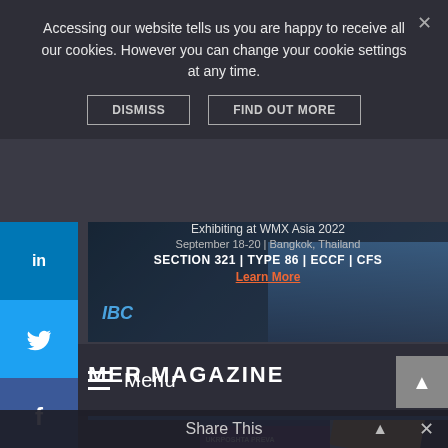Accessing our website tells us you are happy to receive all our cookies. However you can change your cookie settings at any time.
DISMISS    FIND OUT MORE
[Figure (screenshot): IBC advertisement banner: Exhibiting at WMX Asia 2022, September 18-20 | Bangkok, Thailand. SECTION 321 | TYPE 86 | ECCF | CFS. Learn More link in red.]
Menu
MER MAGAZINE
[Figure (photo): Stack of MER magazine issues including issue 60 and issue 58, with colorful covers including UKRPOSHTA PREVA headline visible on bottom cover.]
Share This